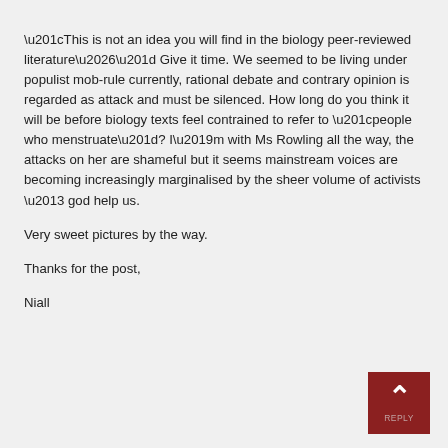“This is not an idea you will find in the biology peer-reviewed literature…” Give it time. We seemed to be living under populist mob-rule currently, rational debate and contrary opinion is regarded as attack and must be silenced. How long do you think it will be before biology texts feel contrained to refer to “people who menstruate”? I’m with Ms Rowling all the way, the attacks on her are shameful but it seems mainstream voices are becoming increasingly marginalised by the sheer volume of activists – god help us.
Very sweet pictures by the way.
Thanks for the post,
Niall
[Figure (other): Dark red square button with upward-pointing chevron arrow in white and 'REPLY' text label beneath]